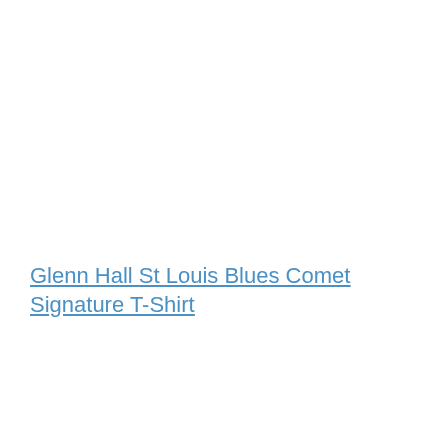Glenn Hall St Louis Blues Comet Signature T-Shirt